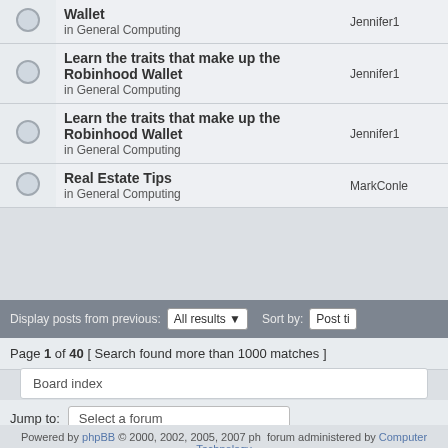|  | Topic | Author |
| --- | --- | --- |
|  | Wallet
in General Computing | Jennifer1 |
|  | Learn the traits that make up the Robinhood Wallet
in General Computing | Jennifer1 |
|  | Learn the traits that make up the Robinhood Wallet
in General Computing | Jennifer1 |
|  | Real Estate Tips
in General Computing | MarkConle |
Display posts from previous: All results Sort by: Post time
Page 1 of 40 [ Search found more than 1000 matches ]
Board index
Jump to: Select a forum
Powered by phpBB © 2000, 2002, 2005, 2007 ph forum administered by Computer Technology computer repair alsager | computer repair audley | computer repair baldwins gate | comp repair biddulph | computer repair burslem | computer repair cheddleton | computer rep clayton | computer repair congleton | computer repair crewe | computer repair endon | c repair harriseahead | computer repair hartshill | computer repair keele | computer repair k computer repair loggerheads | computer repair longton | computer repair madeley | c computer repair middleport | computer repair mow cop | computer repair nantwich | c packmoor | computer repair silverdale | computer repair stoke | computer repair stoke- computer repair trentham | computer repair tunstall | computer repair werrington | c